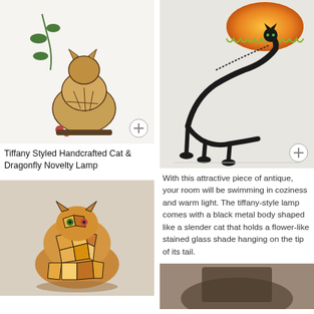[Figure (photo): Tiffany styled stained glass cat lamp with dragonfly and floral decorative elements, sitting on a base with green leaves and flowers]
Tiffany Styled Handcrafted Cat & Dragonfly Novelty Lamp
[Figure (photo): Black metal cat sculpture lamp with arched body holding an orange/yellow stained glass flower-shaped shade on the tip of its tail]
With this attractive piece of antique, your room will be swimming in coziness and warm light. The tiffany-style lamp comes with a black metal body shaped like a slender cat that holds a flower-like stained glass shade hanging on the tip of its tail.
[Figure (photo): Stained glass mosaic cat figurine lamp in warm orange, amber, cream and brown tones, sitting position]
[Figure (photo): Dark colored cat lamp, partially visible at bottom right]